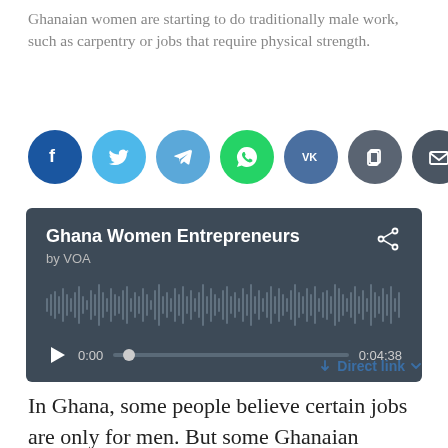Ghanaian women are starting to do traditionally male work, such as carpentry or jobs that require physical strength.
[Figure (infographic): Row of seven social media sharing buttons: Facebook (dark blue), Twitter (light blue), Telegram (blue), WhatsApp (green), VKontakte (dark blue), Copy link (dark gray), Email (dark gray)]
[Figure (screenshot): Audio player widget with dark background showing 'Ghana Women Entrepreneurs by VOA', waveform visualization, play button, time 0:00 / 0:04:38, progress bar with dot at start, and share icon]
↓ Direct link ∨
In Ghana, some people believe certain jobs are only for men. But some Ghanaian women are starting to do traditionally male work, such as carpentry or jobs that